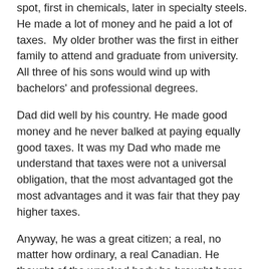spot, first in chemicals, later in specialty steels. He made a lot of money and he paid a lot of taxes.  My older brother was the first in either family to attend and graduate from university. All three of his sons would wind up with bachelors' and professional degrees.
Dad did well by his country. He made good money and he never balked at paying equally good taxes. It was my Dad who made me understand that taxes were not a universal obligation, that the most advantaged got the most advantages and it was fair that they pay higher taxes.
Anyway, he was a great citizen; a real, no matter how ordinary, a real Canadian. He thought of the wrecked body he brought home and his friends who remain over there, underground, as an investment in the country. He had to find some way to rationalize his nightmares. He grew a belief in this country that he'd never have had tripping a steam hammer in the forge.
As he got older, his conditioned worsened - an immensely strong but equally old man who has to relent. Mom was